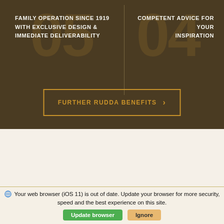FAMILY OPERATION SINCE 1919 WITH EXCLUSIVE DESIGN & IMMEDIATE DELIVERABILITY
COMPETENT ADVICE FOR YOUR INSPIRATION
FURTHER RUDDA BENEFITS
[Figure (other): Cream colored section with vertical center divider line]
Your web browser (iOS 11) is out of date. Update your browser for more security, speed and the best experience on this site.
Update browser
Ignore